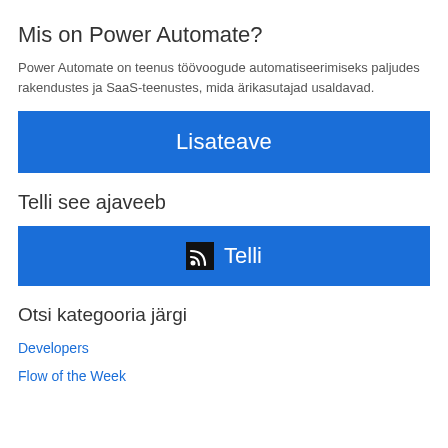Mis on Power Automate?
Power Automate on teenus töövoogude automatiseerimiseks paljudes rakendustes ja SaaS-teenustes, mida ärikasutajad usaldavad.
[Figure (other): Blue button labeled 'Lisateave']
Telli see ajaveeb
[Figure (other): Blue button with RSS icon labeled 'Telli']
Otsi kategooria järgi
Developers
Flow of the Week